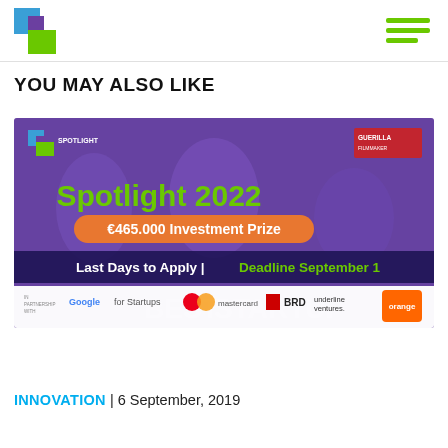HOW TO WEB logo and hamburger menu
YOU MAY ALSO LIKE
[Figure (photo): Spotlight 2022 promotional banner showing a startup competition with €465.000 Investment Prize, Last Days to Apply | Deadline September 1, along with sponsor logos including Google for Startups, Mastercard, BRD, underline ventures, and Orange.]
INNOVATION | 6 September, 2019